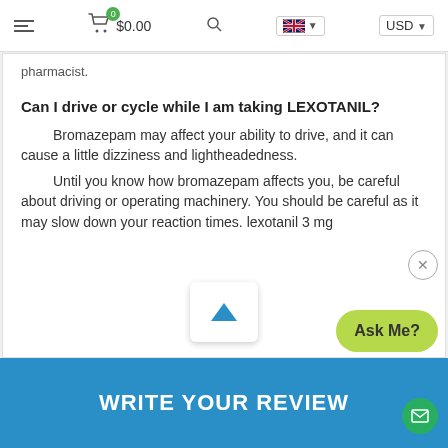0  $0.00   [search] [UK flag] USD
pharmacist.
Can I drive or cycle while I am taking LEXOTANIL?
Bromazepam may affect your ability to drive, and it can cause a little dizziness and lightheadedness.
Until you know how bromazepam affects you, be careful about driving or operating machinery. You should be careful as it may slow down your reaction times. lexotanil 3 mg
WRITE YOUR REVIEW